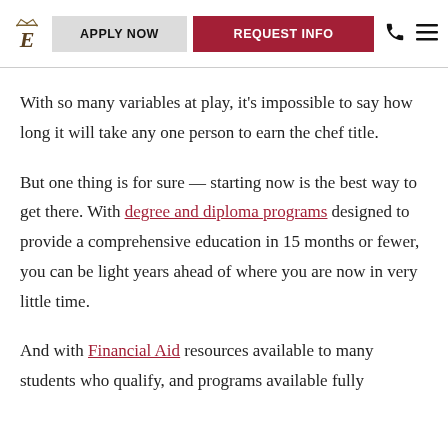APPLY NOW | REQUEST INFO
With so many variables at play, it's impossible to say how long it will take any one person to earn the chef title.
But one thing is for sure — starting now is the best way to get there. With degree and diploma programs designed to provide a comprehensive education in 15 months or fewer, you can be light years ahead of where you are now in very little time.
And with Financial Aid resources available to many students who qualify, and programs available fully